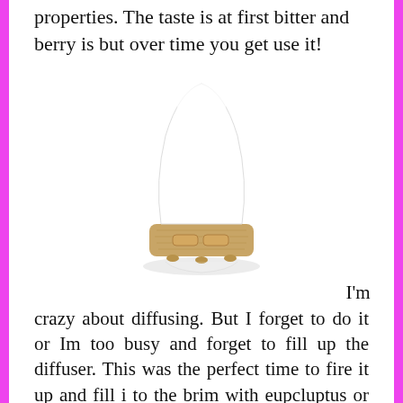properties. The taste is at first bitter and berry is but over time you get use it!
[Figure (photo): A white essential oil diffuser with a wood-grain base sitting on a white surface with a subtle reflection beneath it.]
I'm crazy about diffusing. But I forget to do it or Im too busy and forget to fill up the diffuser. This was the perfect time to fire it up and fill i to the brim with eupcluptus or lavender! This sound reducing